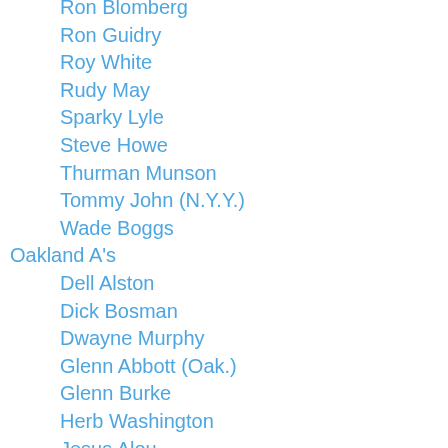Ron Blomberg
Ron Guidry
Roy White
Rudy May
Sparky Lyle
Steve Howe
Thurman Munson
Tommy John (N.Y.Y.)
Wade Boggs
Oakland A's
Dell Alston
Dick Bosman
Dwayne Murphy
Glenn Abbott (Oak.)
Glenn Burke
Herb Washington
Jesus Alou
Jim Hunter
Jim Tyrone
Joe Rudi